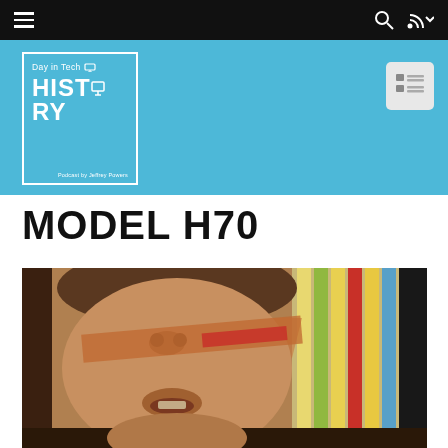Day in Tech HISTORY — navigation bar
[Figure (logo): Day in Tech HISTORY podcast logo — white border box on blue background, text reading 'Day in Tech' and 'HISTORY' with monitor icon, 'Podcast by Jeffrey Powers' at bottom]
MODEL H70
[Figure (photo): Close-up photo of a person's face from below, showing nose and mouth, with colorful striped background on the right side]